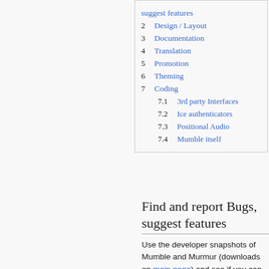suggest features
2  Design / Layout
3  Documentation
4  Translation
5  Promotion
6  Theming
7  Coding
7.1  3rd party Interfaces
7.2  Ice authenticators
7.3  Positional Audio
7.4  Mumble itself
Find and report Bugs, suggest features
Use the developer snapshots of Mumble and Murmur (downloads on main page) and see if you can find any issues with them. If you do, check if the issue has